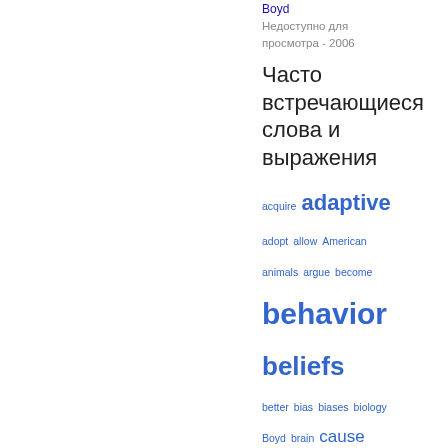Boyd
Недоступно для просмотра - 2006
Часто встречающиеся слова и выражения
[Figure (infographic): Word cloud of frequently occurring words: acquire, adaptive, adopt, allow, American, animals, argue, become, behavior, beliefs, better, bias, biases, biology, Boyd, brain, cause, chapter, common, compared, complex, cooperation, cost, cultural evolution, cultural variants, Darwinian, depend, economic, effect, environment — shown in varying font sizes indicating frequency, all in blue color]